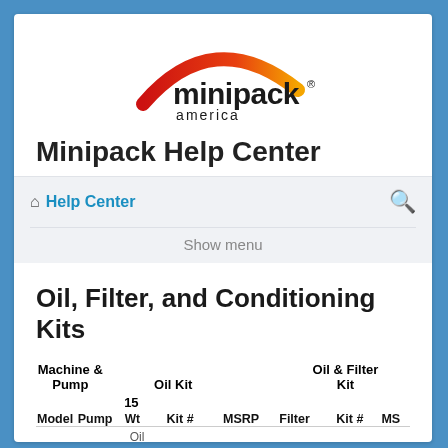[Figure (logo): Minipack America logo with red-to-orange arc above bold minipack text and 'america' below]
Minipack Help Center
Help Center
Show menu
Oil, Filter, and Conditioning Kits
| Machine & Pump |  | Oil Kit |  | Oil & Filter Kit |  |
| --- | --- | --- | --- | --- | --- |
| Model | Pump | Wt  15 Oil | Kit # | MSRP | Filter | Kit # | MS |